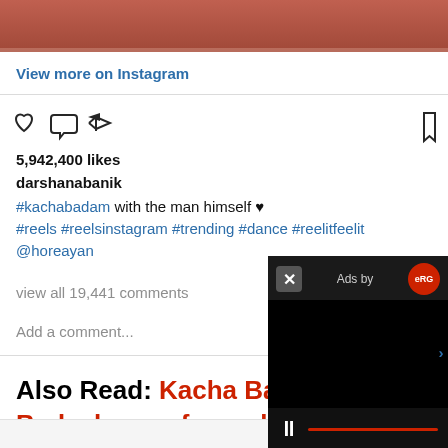[Figure (photo): Top portion of an Instagram photo showing red/warm toned clothing]
View more on Instagram
[Figure (infographic): Instagram action icons: heart, comment, share, bookmark]
5,942,400 likes
darshanabanik
#kachabadam with the man himself ♥ #reels #reelsinstagram #trending #dance #reelitfeelit @horeayan
view all 19,441 comments
Add a comment...
Also Read: Kacha Badam singer Bhuban Badyakar performs live in
[Figure (screenshot): Ad overlay video player with close button, Ads by logo, pause control and progress bar]